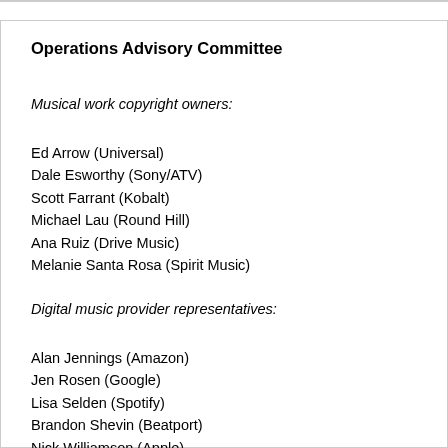Operations Advisory Committee
Musical work copyright owners:
Ed Arrow (Universal)
Dale Esworthy (Sony/ATV)
Scott Farrant (Kobalt)
Michael Lau (Round Hill)
Ana Ruiz (Drive Music)
Melanie Santa Rosa (Spirit Music)
Digital music provider representatives:
Alan Jennings (Amazon)
Jen Rosen (Google)
Lisa Selden (Spotify)
Brandon Shevin (Beatport)
Nick Williamson (Apple)